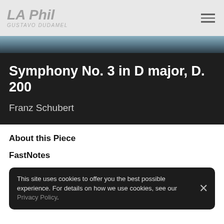LA Phil
[Figure (photo): Architectural image of Walt Disney Concert Hall exterior angled view against sky]
Symphony No. 3 in D major, D. 200
Franz Schubert
About this Piece
FastNotes
This site uses cookies to offer you the best possible experience. For details on how we use cookies, see our Privacy Policy.